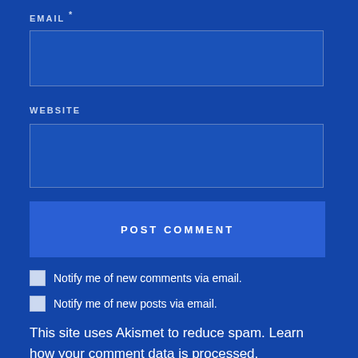EMAIL *
[Figure (screenshot): Email input text field (empty), dark blue background]
WEBSITE
[Figure (screenshot): Website input text field (empty), dark blue background]
POST COMMENT
Notify me of new comments via email.
Notify me of new posts via email.
This site uses Akismet to reduce spam. Learn how your comment data is processed.